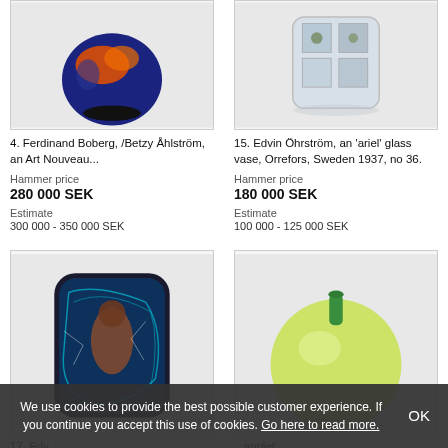[Figure (photo): Blue art nouveau vase with orange fish/bird motif on dark blue background]
4. Ferdinand Boberg, /Betzy Åhlström, an Art Nouveau...
Hammer price
280 000 SEK
Estimate
300 000 - 350 000 SEK
[Figure (photo): Clear glass vase with internal art glass imagery, Orrefors ariel technique]
15. Edvin Öhrström, an 'ariel' glass vase, Orrefors, Sweden 1937, no 36.
Hammer price
180 000 SEK
Estimate
100 000 - 125 000 SEK
[Figure (photo): Dark art glass vase with figurative blue mosaic pattern showing a woman]
17. Edv...
[Figure (photo): Yellow-green round glass bottle/vase with green stopper]
...applet'
We use cookies to provide the best possible customer experience. If you continue you accept this use of cookies. Go here to read more.
OK